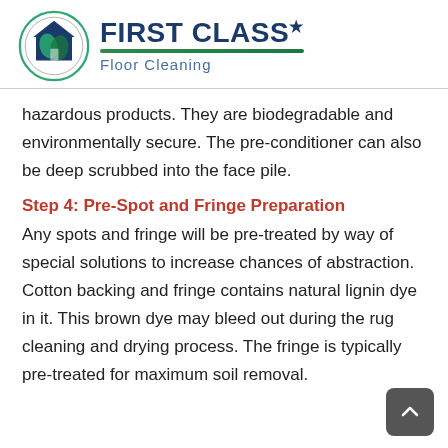[Figure (logo): First Class Floor Cleaning company logo: circular icon with house and cleaning imagery in green and blue, with company name 'First Class Floor Cleaning' in blue and green text]
hazardous products. They are biodegradable and environmentally secure. The pre-conditioner can also be deep scrubbed into the face pile.
Step 4: Pre-Spot and Fringe Preparation
Any spots and fringe will be pre-treated by way of special solutions to increase chances of abstraction. Cotton backing and fringe contains natural lignin dye in it. This brown dye may bleed out during the rug cleaning and drying process. The fringe is typically pre-treated for maximum soil removal.